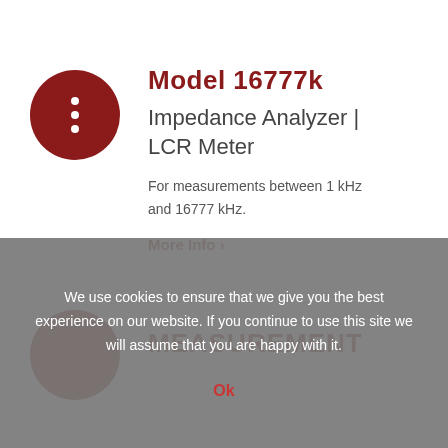[Figure (logo): Dark red circle with three white dots arranged vertically (product icon)]
Model 16777k
Impedance Analyzer | LCR Meter
For measurements between 1 kHz and 16777 kHz.
More Info >
[Figure (logo): Partial dark red circle at bottom of page (second product icon)]
MEASUREMENT
We use cookies to ensure that we give you the best experience on our website. If you continue to use this site we will assume that you are happy with it.
Ok